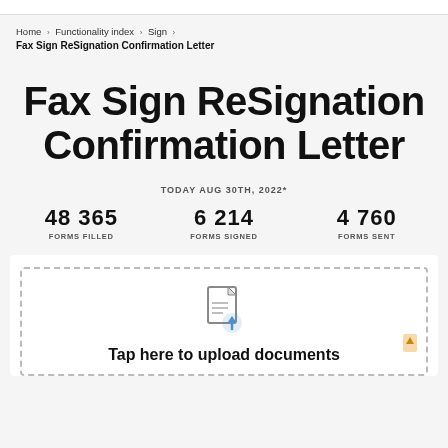Home › Functionality index › Sign › Fax Sign ReSignation Confirmation Letter
Fax Sign ReSignation Confirmation Letter
TODAY AUG 30TH, 2022*
48 365 FORMS FILLED   6 214 FORMS SIGNED   4 760 FORMS SENT
[Figure (illustration): Document upload icon with an upward arrow, inside a dashed border card. Text below: Tap here to upload documents]